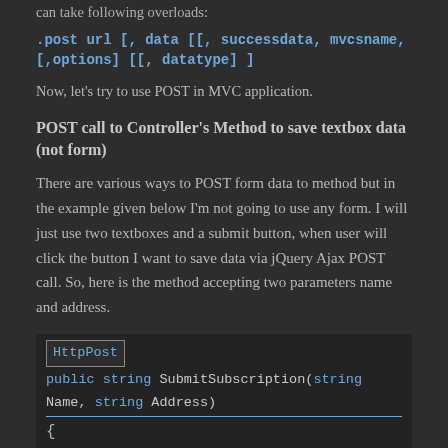can take following overloads:
post url [, data [[ successdata, mvcsname, [,options] [[ datatype] ]
Now, let's try to use POST in MVC application.
POST call to Controller's Method to save textbox data (not form)
There are various ways to POST form data to method but in the example given below I'm not going to use any form. I will just use two textboxes and a submit button, when user will click the button I want to save data via jQuery Ajax POST call. So, here is the method accepting two parameters name and address.
[HttpPost]
public string SubmitSubscription(string Name, string Address)
{